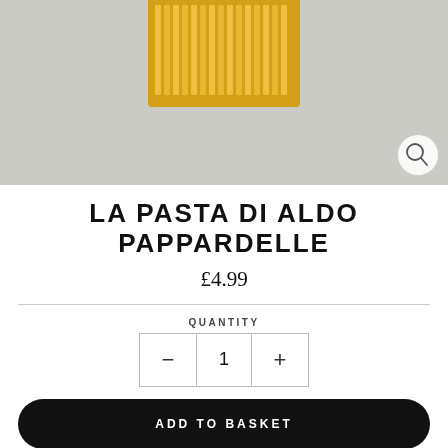[Figure (photo): Product photo of La Pasta Di Aldo Pappardelle — yellow/golden pappardelle pasta noodles arranged in a rectangular box, photographed from above on a grey surface. A magnifying glass icon appears in the bottom-right corner of the image.]
LA PASTA DI ALDO PAPPARDELLE
£4.99
QUANTITY
− 1 +
ADD TO BASKET
Pasta Di Aldo was described by Heston Blumenthal in his BBC